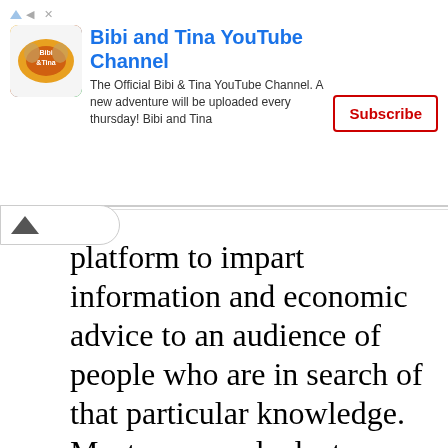[Figure (screenshot): YouTube channel advertisement banner for 'Bibi and Tina YouTube Channel' with logo, description text, and Subscribe button]
platform to impart information and economic advice to an audience of people who are in search of that particular knowledge. Most commonly, lecturers in economics are more trained in the subject matter than as a public speaker.